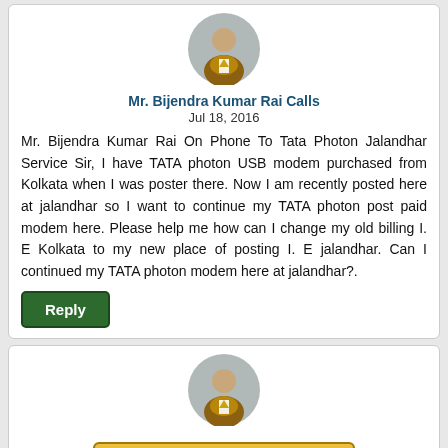[Figure (illustration): Generic male avatar icon in circular frame, showing a person in brown suit with tie on grey background]
Mr. Bijendra Kumar Rai Calls
Jul 18, 2016
Mr. Bijendra Kumar Rai On Phone To Tata Photon Jalandhar Service Sir, I have TATA photon USB modem purchased from Kolkata when I was poster there. Now I am recently posted here at jalandhar so I want to continue my TATA photon post paid modem here. Please help me how can I change my old billing I. E Kolkata to my new place of posting I. E jalandhar. Can I continued my TATA photon modem here at jalandhar?.
[Figure (illustration): Generic male avatar icon in circular frame, showing a person in brown suit with tie on grey background]
[Figure (illustration): Post Your Complaint button with pencil/notepad icon]